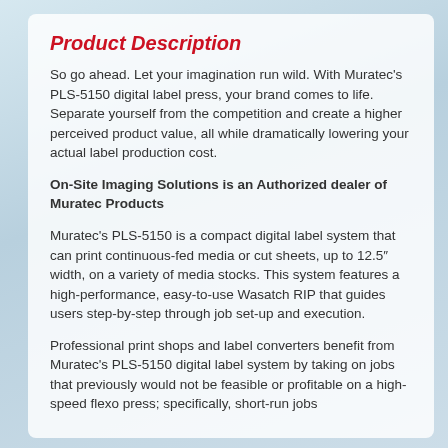Product Description
So go ahead. Let your imagination run wild. With Muratec's PLS-5150 digital label press, your brand comes to life. Separate yourself from the competition and create a higher perceived product value, all while dramatically lowering your actual label production cost.
On-Site Imaging Solutions is an Authorized dealer of Muratec Products
Muratec's PLS-5150 is a compact digital label system that can print continuous-fed media or cut sheets, up to 12.5″ width, on a variety of media stocks. This system features a high-performance, easy-to-use Wasatch RIP that guides users step-by-step through job set-up and execution.
Professional print shops and label converters benefit from Muratec's PLS-5150 digital label system by taking on jobs that previously would not be feasible or profitable on a high-speed flexo press; specifically, short-run jobs